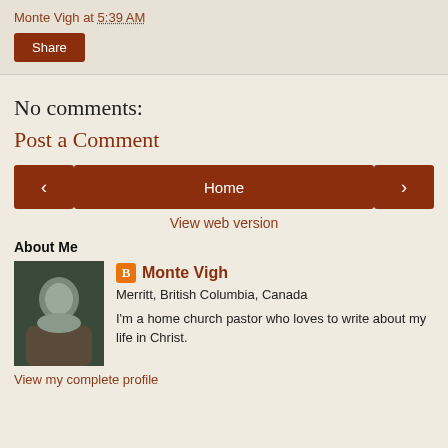Monte Vigh at 5:39 AM
Share
No comments:
Post a Comment
< Home >
View web version
About Me
Monte Vigh
Merritt, British Columbia, Canada
I'm a home church pastor who loves to write about my life in Christ.
View my complete profile